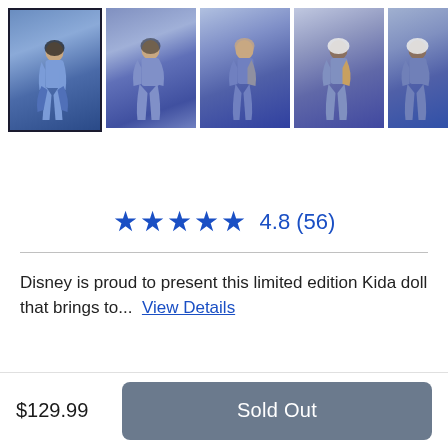[Figure (screenshot): Thumbnail strip of 5 product images showing a Kida doll from Disney in various poses, wearing blue/lavender outfit. First thumbnail is selected with a dark border.]
★★★★★  4.8 (56)
Disney is proud to present this limited edition Kida doll that brings to...  View Details
$129.99
Sold Out